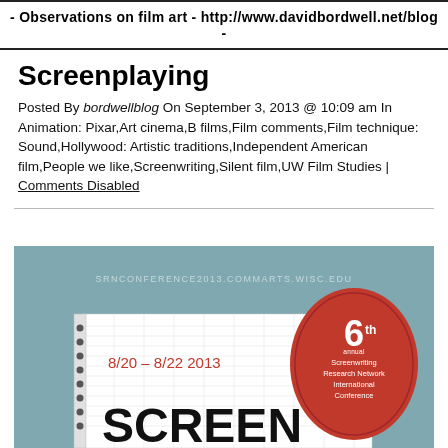- Observations on film art - http://www.davidbordwell.net/blog -
Screenplaying
Posted By bordwellblog On September 3, 2013 @ 10:09 am In Animation: Pixar,Art cinema,B films,Film comments,Film technique: Sound,Hollywood: Artistic traditions,Independent American film,People we like,Screenwriting,Silent film,UW Film Studies | Comments Disabled
[Figure (illustration): Conference poster for the 6th annual Screenwriting Research Network International Conference, 8/20 - 8/22 2013. Blue-grey background with a notebook/grid paper graphic, red oval badge with '6th annual Screenwriting Research Network International Conference', and large text 'SCREEN' at the bottom. URL: SRNCONFERENCE2013.COMMARTS.WISC.EDU]